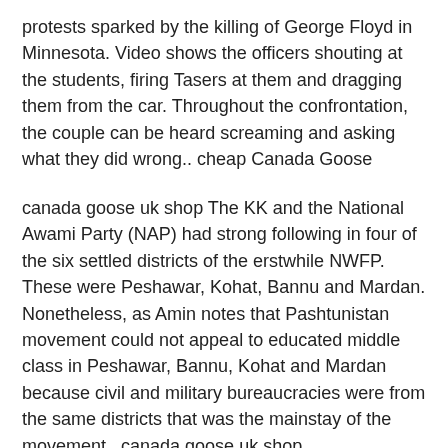protests sparked by the killing of George Floyd in Minnesota. Video shows the officers shouting at the students, firing Tasers at them and dragging them from the car. Throughout the confrontation, the couple can be heard screaming and asking what they did wrong.. cheap Canada Goose
canada goose uk shop The KK and the National Awami Party (NAP) had strong following in four of the six settled districts of the erstwhile NWFP. These were Peshawar, Kohat, Bannu and Mardan. Nonetheless, as Amin notes that Pashtunistan movement could not appeal to educated middle class in Peshawar, Bannu, Kohat and Mardan because civil and military bureaucracies were from the same districts that was the mainstay of the movement.. canada goose uk shop
buy canada goose jacket The jazzy Sally almost sounds like...